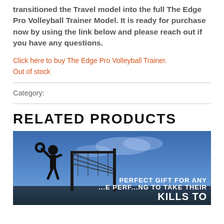transitioned the Travel model into the full The Edge Pro Volleyball Trainer Model. It is ready for purchase now by using the link below and please reach out if you have any questions.
Click here to buy The Edge Pro Volleyball Trainer.
Out of stock
Category:
RELATED PRODUCTS
[Figure (photo): Product photo showing a volleyball trainer in use outdoors against a blue sky. Text overlay reads: PERFECT GIFT FOR ANY ... TAKE THEIR SKILLS TO ...]